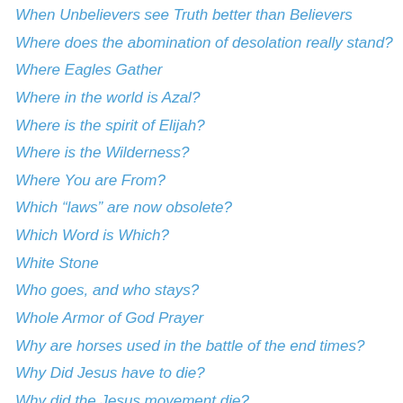When Unbelievers see Truth better than Believers
Where does the abomination of desolation really stand?
Where Eagles Gather
Where in the world is Azal?
Where is the spirit of Elijah?
Where is the Wilderness?
Where You are From?
Which “laws” are now obsolete?
Which Word is Which?
White Stone
Who goes, and who stays?
Whole Armor of God Prayer
Why are horses used in the battle of the end times?
Why Did Jesus have to die?
Why did the Jesus movement die?
Why do good people suffer?
Why is God’s clock going into overtime?
Why isn’t Jesus back yet?
Why Jews reject Jesus…unfulfilled prophesies
Why Mohammed was not the Comforter Promised by Jesus